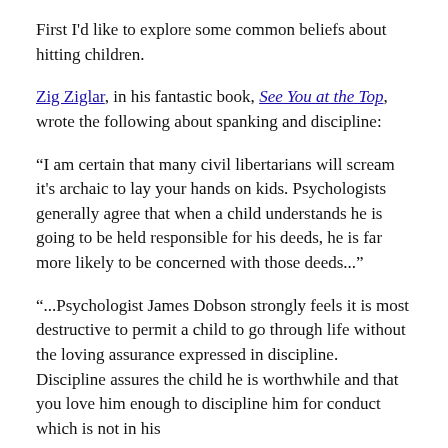First I'd like to explore some common beliefs about hitting children.
Zig Ziglar, in his fantastic book, See You at the Top, wrote the following about spanking and discipline:
“I am certain that many civil libertarians will scream it's archaic to lay your hands on kids. Psychologists generally agree that when a child understands he is going to be held responsible for his deeds, he is far more likely to be concerned with those deeds...”
“...Psychologist James Dobson strongly feels it is most destructive to permit a child to go through life without the loving assurance expressed in discipline. Discipline assures the child he is worthwhile and that you love him enough to discipline him for conduct which is not in his